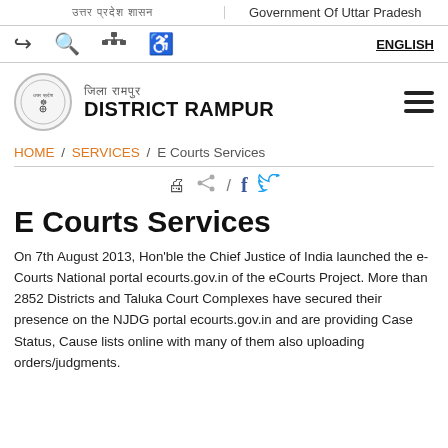उत्तर प्रदेश शासन / Government Of Uttar Pradesh
[Figure (screenshot): Navigation icon bar with back arrow, search, sitemap, accessibility, and ENGLISH language link]
[Figure (logo): District Rampur logo circle with emblem, Hindi text and DISTRICT RAMPUR in English, hamburger menu icon]
HOME / SERVICES / E Courts Services
[Figure (infographic): Share/print row with print icon, share icon, slash, Facebook icon, Twitter icon]
E Courts Services
On 7th August 2013, Hon'ble the Chief Justice of India launched the e-Courts National portal ecourts.gov.in of the eCourts Project. More than 2852 Districts and Taluka Court Complexes have secured their presence on the NJDG portal ecourts.gov.in and are providing Case Status, Cause lists online with many of them also uploading orders/judgments.